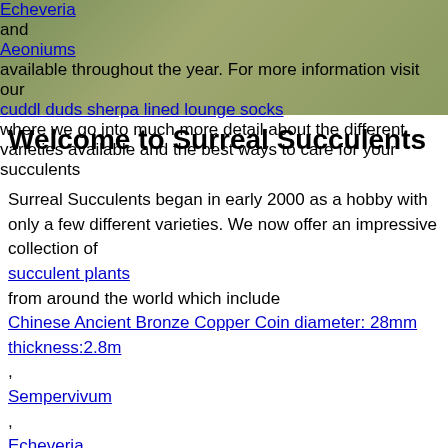[Figure (photo): Background photo of succulents with overlaid text showing links and descriptive text about Echeveria and Aeoniums]
and
Aeoniums
available throughout the year. For more information visit our
cuddl duds sherpa lined lounge socks
where we go into much more detail about the different varieties available and the best ways to care for your succulents
Welcome to Surreal Succulents
Surreal Succulents began in early 2000 as a hobby with only a few different varieties. We now offer an impressive collection of
succulent plants
from around the world which include
Chinese Ancient Bronze Copper Coin diameter: 28mm thickness:2.8m
,
Sempervivum
,
Echeveria
,
Crassula
,
TWO Radial 15" ATV UTV Tire Inner Tubes 30x9-15,30x10-15,31x11.